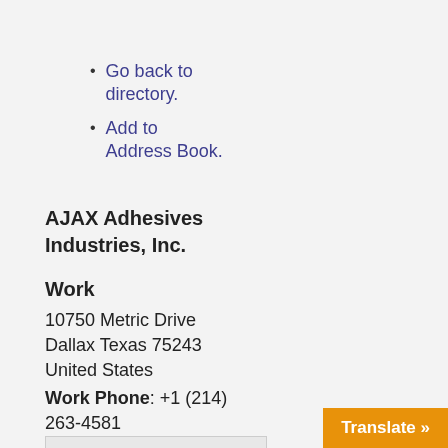Go back to directory.
Add to Address Book.
AJAX Adhesives Industries, Inc.
Work
10750 Metric Drive
Dallax Texas 75243
United States
Work Phone: +1 (214) 263-4581
[Figure (other): No Image Available placeholder box]
Translate »